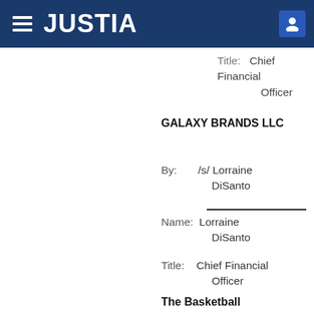JUSTIA
Title: Chief Financial Officer
GALAXY BRANDS LLC
By: /s/ Lorraine DiSanto
Name: Lorraine DiSanto
Title: Chief Financial Officer
The Basketball Marketing Company, Inc.